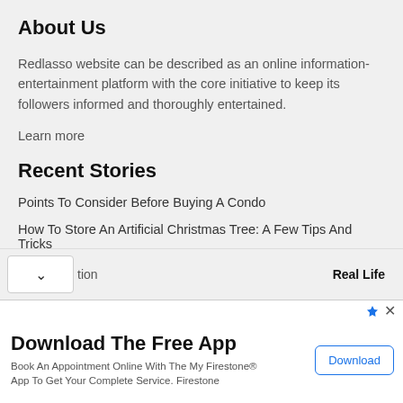About Us
Redlasso website can be described as an online information-entertainment platform with the core initiative to keep its followers informed and thoroughly entertained.
Learn more
Recent Stories
Points To Consider Before Buying A Condo
How To Store An Artificial Christmas Tree: A Few Tips And Tricks
Categories
tion   Real Life
[Figure (screenshot): Advertisement banner for Firestone app download. Headline: Download The Free App. Subtext: Book An Appointment Online With The My Firestone® App To Get Your Complete Service. Firestone. Blue Download button on the right.]